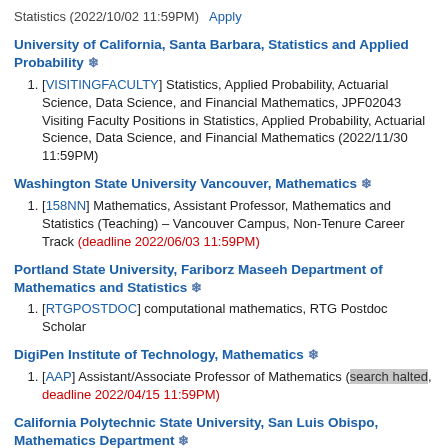Statistics (2022/10/02 11:59PM)   Apply
University of California, Santa Barbara, Statistics and Applied Probability ❄
[VISITINGFACULTY] Statistics, Applied Probability, Actuarial Science, Data Science, and Financial Mathematics, JPF02043 Visiting Faculty Positions in Statistics, Applied Probability, Actuarial Science, Data Science, and Financial Mathematics (2022/11/30 11:59PM)
Washington State University Vancouver, Mathematics ❄
[158NN] Mathematics, Assistant Professor, Mathematics and Statistics (Teaching) – Vancouver Campus, Non-Tenure Career Track (deadline 2022/06/03 11:59PM)
Portland State University, Fariborz Maseeh Department of Mathematics and Statistics ❄
[RTGPOSTDOC] computational mathematics, RTG Postdoc Scholar
DigiPen Institute of Technology, Mathematics ❄
[AAP] Assistant/Associate Professor of Mathematics (search halted, deadline 2022/04/15 11:59PM)
California Polytechnic State University, San Luis Obispo, Mathematics Department ❄
[POSTDOC] Mathematical Biology, Frost Postdoctoral Research